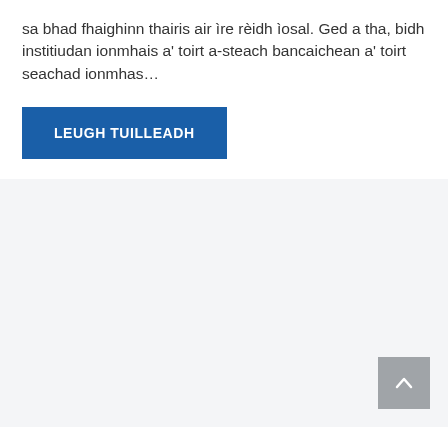sa bhad fhaighinn thairis air ìre rèidh ìosal. Ged a tha, bidh institiudan ionmhais a' toirt a-steach bancaichean a' toirt seachad ionmhas…
LEUGH TUILLEADH